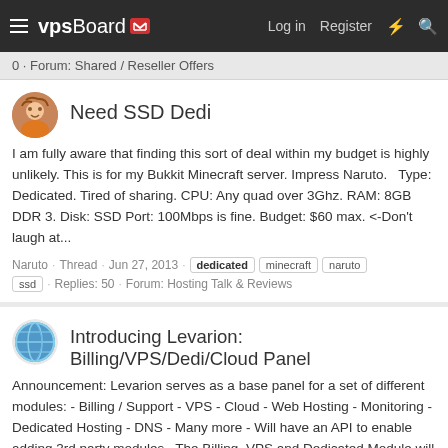vpsBoard - Log in  Register
0 · Forum: Shared / Reseller Offers
Need SSD Dedi
I am fully aware that finding this sort of deal within my budget is highly unlikely. This is for my Bukkit Minecraft server. Impress Naruto.   Type: Dedicated. Tired of sharing. CPU: Any quad over 3Ghz. RAM: 8GB DDR 3. Disk: SSD Port: 100Mbps is fine. Budget: $60 max. <-Don't laugh at...
Naruto · Thread · Jun 27, 2013 · dedicated  minecraft  naruto  ssd · Replies: 50 · Forum: Hosting Talk & Reviews
Introducing Levarion: Billing/VPS/Dedi/Cloud Panel
Announcement: Levarion serves as a base panel for a set of different modules: - Billing / Support - VPS - Cloud - Web Hosting - Monitoring - Dedicated Hosting - DNS - Many more - Will have an API to enable adding 3rd party modules   The Billing, VPS and Dedicated Module will be built...
concerto49 · Thread · Jun 19, 2013 · billing  cpanel  dedicated  levarion  management  panel  vps  web hosting · Replies: 23
Forum: Hosting Talk & Reviews